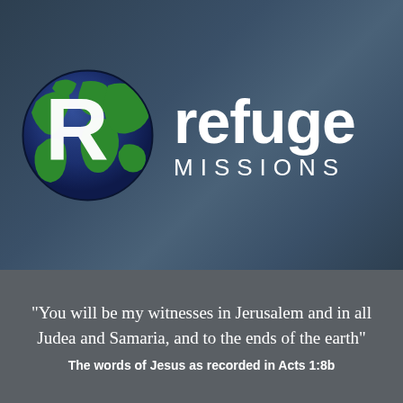[Figure (logo): Refuge Missions logo: a globe with green continents and blue oceans with a large white letter R overlaid, next to the text 'refuge MISSIONS' in white]
"You will be my witnesses in Jerusalem and in all Judea and Samaria, and to the ends of the earth"
The words of Jesus as recorded in Acts 1:8b